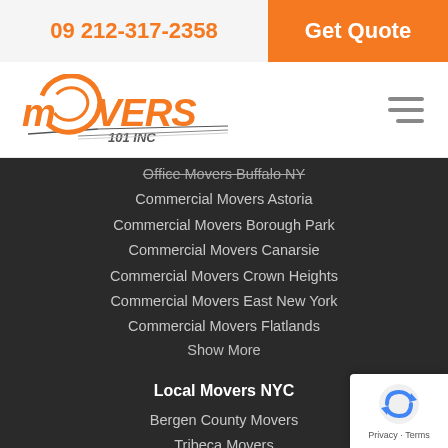09 212-317-2358 | Get Quote
[Figure (logo): Movers 101 Inc logo with orange swoosh and road graphic]
Office Movers Buffalo NY
Commercial Movers Astoria
Commercial Movers Borough Park
Commercial Movers Canarsie
Commercial Movers Crown Heights
Commercial Movers East New York
Commercial Movers Flatlands
Show More
Local Movers NYC
Bergen County Movers
Tribeca Movers
Lower East Side Movers
Sunset Park Movers
Gravesend Movers
Marine Park Movers
Madison Movers
Flatbush Movers